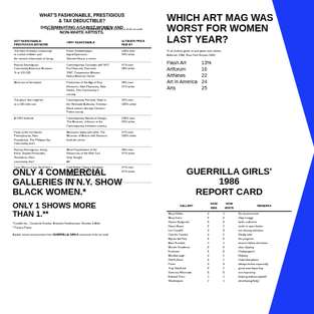WHAT'S FASHIONABLE, PRESTIGIOUS & TAX DEDUCTIBLE?
DISCRIMINATING AGAINST WOMEN AND NON-WHITE ARTISTS.
| NOT FASHIONABLE / PRESTIGIOUS ANYMORE | VERY FASHIONABLE | ULTIMATE PRICE PAID BY |
| --- | --- | --- |
| The Hare Krishnas community to control children... | Franz Schleibherger, Ingrid Bjornsson, Valentin Beaux... | 100% men 99% white |
| Barney Greengrass, Upper West Side Jewish deli... | Contemporary Concepts NYC, The Diamond District 1987... | 97% men 98% white |
| Minimum of formalism | Production of the Age of Key Elements, Nike Phantoms, Nike Dunks... | 98% men 97% white |
| The place that might be at a 100 mile cost... | Contemporary Formula, Style to the, Westside Authority, Christian Black women... | 99% men 100% white |
| A CDFI Institute | Contemporary Booths in Design, The Museum, Johnson in the Contemporary Institutes... | 100% men 99% white |
| Party at the Ice House, Pennsylvania, New Amsterdam, The Philipse-Van Brugh... | Measures daily with other The Museum of Motion with Seasons... | 97% men 100% white |
| Barney Greengrass, Irving, Ernst, Sophie Fernandes, Rest... | More Foundations of the Resources of the With Carl Very Tonight... | 98% men 97% white |
| Casa Blanca-Casa Stroll See It | Cold Water Today's Template Society, Default Head Ditto, Methods and White, County | 97% men 67% white |
A public service announcement from Guerrilla Girls conscience of the art world
WHICH ART MAG WAS WORST FOR WOMEN LAST YEAR?
% of reviews devoted to and given solo shows. Artforum 1984, New York Review 1984
|  |  |
| --- | --- |
| Flash Art | 13% |
| Artforum | 16 |
| ArtNews | 22 |
| Art in America | 24 |
| Arts | 25 |
Box 1056 Cooper Sta, NY, NY 10276 Guerrilla Girls CONSCIENCE OF THE ART WORLD
ONLY 4 COMMERCIAL GALLERIES IN N.Y. SHOW BLACK WOMEN.*
ONLY 1 SHOWS MORE THAN 1.**
*Castillo Inc., Caramelo Kumbo, Brendan Smithsonian, Stratton & After
**Castro Pamix
A public service announcement from Guerrilla Girls conscience of the art world
GUERRILLA GIRLS' 1986 REPORT CARD
| GALLERY | WOM MEN | WOM WHITE | REMARKS |
| --- | --- | --- | --- |
| Mary Holton | 4 | 1 | No improvement |
| Mary Icons | 0 | 0 | Stay craggy |
| Gosee Borgorski | 0 | 0 | lacks collective |
| Diana Bryan | 0 | 2 | invite to open better |
| Leo Castelli | 4 | 3 | not closing attention |
| Charles Cowles | 4 | 2 | Really wild |
| Myrios del Rey | 0 | 0 | No progress |
| Alice Franklin | 2 | 1 | doesn't follow directions |
| Marion Goodman | 0 | 0 | stop clipping |
| Fartisson | 0 | 0 | Pedagogued |
| Markborough | 4 | 2 | Helping |
| Old B-Shad | 0 | 2 | Underdisciplines |
| Pines | 3 | 3 | always below especially |
| Troy Goldfund | 0 | 2 | great swordsporting |
| Sonross Wilumsda | 0 | 0 | not improving |
| Edward Terra | 1 | 1 | helping without pity/tell |
| Washington | 2 | 1 | developing(help) |
Guerrilla Girls conscience of the art world